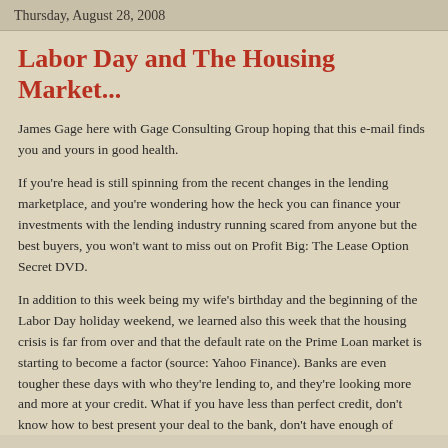Thursday, August 28, 2008
Labor Day and The Housing Market...
James Gage here with Gage Consulting Group hoping that this e-mail finds you and yours in good health.
If you're head is still spinning from the recent changes in the lending marketplace, and you're wondering how the heck you can finance your investments with the lending industry running scared from anyone but the best buyers, you won't want to miss out on Profit Big: The Lease Option Secret DVD.
In addition to this week being my wife's birthday and the beginning of the Labor Day holiday weekend, we learned also this week that the housing crisis is far from over and that the default rate on the Prime Loan market is starting to become a factor (source: Yahoo Finance). Banks are even tougher these days with who they're lending to, and they're looking more and more at your credit. What if you have less than perfect credit, don't know how to best present your deal to the bank, don't have enough of money to get a hard money lender to sign off or you are unable to secure a private investor. So what do you do? Do you